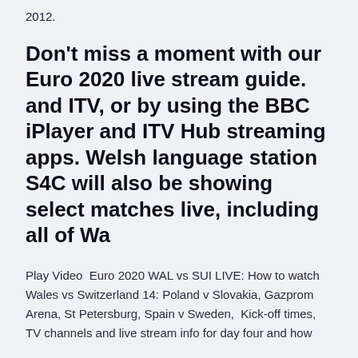2012.
Don't miss a moment with our Euro 2020 live stream guide. and ITV, or by using the BBC iPlayer and ITV Hub streaming apps. Welsh language station S4C will also be showing select matches live, including all of Wa
Play Video  Euro 2020 WAL vs SUI LIVE: How to watch Wales vs Switzerland 14: Poland v Slovakia, Gazprom Arena, St Petersburg, Spain v Sweden,  Kick-off times, TV channels and live stream info for day four and how